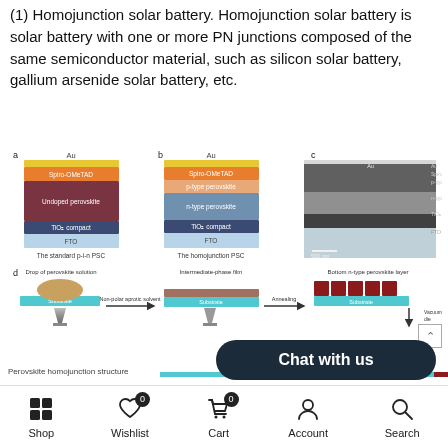(1) Homojunction solar battery. Homojunction solar battery is solar battery with one or more PN junctions composed of the same semiconductor material, such as silicon solar battery, gallium arsenide solar battery, etc.
[Figure (schematic): Three-panel schematic diagram showing (a) the standard p-i-n PSC layer stack: Au, Spiro-OMeTAD, Undoped perovskite, TiO2 compact, FTO; (b) the homojunction PSC layer stack: Au, Spiro-OMeTAD, p-type perovskite, n-type perovskite, TiO2 compact, FTO; (c) SEM cross-section image showing Au, Spiro, p-type perovskite, n-type perovskite, TiO2 compact, FTO layers with 500 nm scale bar.]
[Figure (schematic): Process flow diagram (d) showing: Drop of perovskite solution on substrate, then Non-polar aprotic solvent step yielding Intermediate-phase film on substrate, then Annealing step yielding Bottom n-type perovskite layer on substrate, then Vacuum lamination die step.]
Perovskite homojunction structure
Shop | Wishlist 0 | Cart 0 | Account | Search